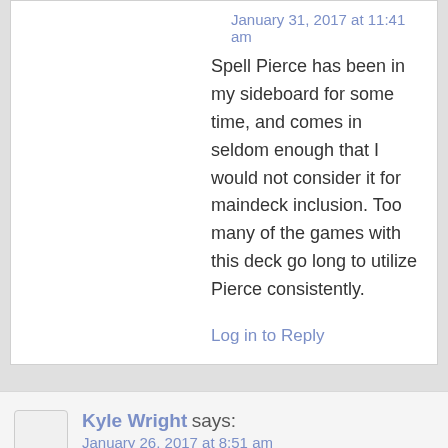January 31, 2017 at 11:41 am
Spell Pierce has been in my sideboard for some time, and comes in seldom enough that I would not consider it for maindeck inclusion. Too many of the games with this deck go long to utilize Pierce consistently.
Log in to Reply
Kyle Wright says:
January 26, 2017 at 8:51 am
2 Manamorphose is weird. Why not just run 4